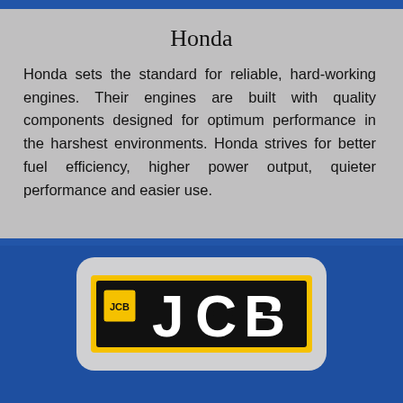Honda
Honda sets the standard for reliable, hard-working engines. Their engines are built with quality components designed for optimum performance in the harshest environments. Honda strives for better fuel efficiency, higher power output, quieter performance and easier use.
[Figure (logo): JCB logo — yellow rectangle background with black inner box containing white bold 'JCB' letters and small JCB brand icon on left, displayed on a rounded gray card over blue background]